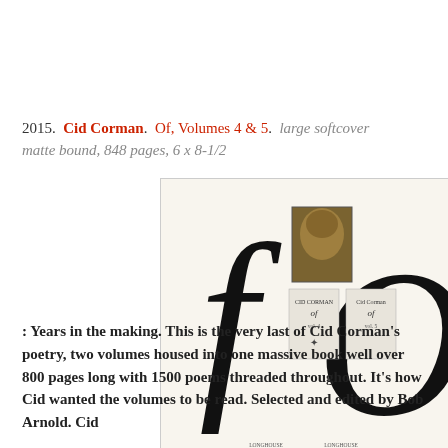2015. Cid Corman. Of, Volumes 4 & 5. large softcover matte bound, 848 pages, 6 x 8-1/2
[Figure (photo): Book cover of 'Of, Volumes 4 & 5' by Cid Corman showing large stylized lowercase 'f' and 'O' letters on white background with a small portrait photo of the author and two small book spine images in the center.]
: Years in the making. This is the very last of Cid Corman's poetry, two volumes housed into one massive book well over 800 pages long with 1500 poems threaded throughout. It's how Cid wanted the volumes to be read. Selected and edited by Bob Arnold. Cid